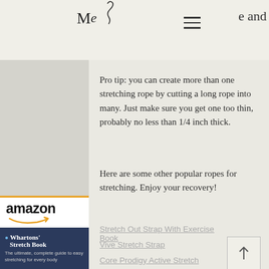M [logo] — e and [hamburger menu]
Pro tip: you can create more than one stretching rope by cutting a long rope into many. Just make sure you get one too thin, probably no less than 1/4 inch thick.
Here are some other popular ropes for stretching. Enjoy your recovery!
Stretch Out Strap With Exercise Book
Vive Stretch Strap
Core Prodigy Active Stretch
[Figure (logo): Amazon logo with orange smile underline]
[Figure (photo): Whartons Stretch Book dark blue book cover]